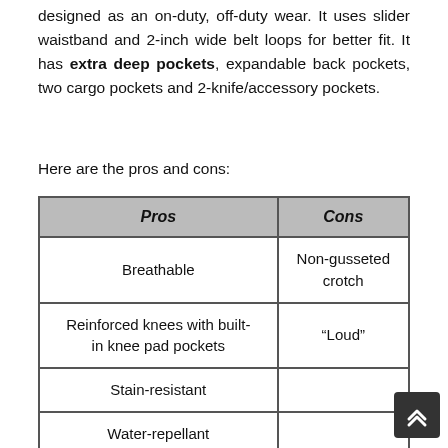designed as an on-duty, off-duty wear. It uses slider waistband and 2-inch wide belt loops for better fit. It has extra deep pockets, expandable back pockets, two cargo pockets and 2-knife/accessory pockets.
Here are the pros and cons:
| Pros | Cons |
| --- | --- |
| Breathable | Non-gusseted crotch |
| Reinforced knees with built-in knee pad pockets | “Loud” |
| Stain-resistant |  |
| Water-repellant |  |
| Flexible |  |